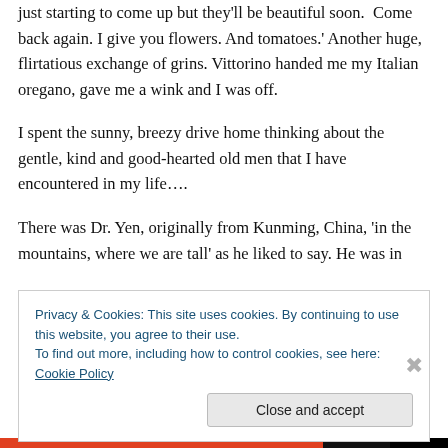just starting to come up but they'll be beautiful soon. Come back again. I give you flowers. And tomatoes.' Another huge, flirtatious exchange of grins. Vittorino handed me my Italian oregano, gave me a wink and I was off.
I spent the sunny, breezy drive home thinking about the gentle, kind and good-hearted old men that I have encountered in my life….
There was Dr. Yen, originally from Kunming, China, 'in the mountains, where we are tall' as he liked to say. He was in
Privacy & Cookies: This site uses cookies. By continuing to use this website, you agree to their use.
To find out more, including how to control cookies, see here: Cookie Policy
Close and accept